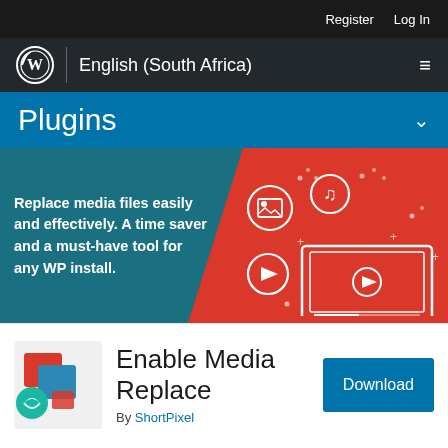Register  Log In
WordPress | English (South Africa)
Plugins
[Figure (illustration): Promotional banner for Enable Media Replace plugin. Left side dark teal background with bold white text: 'Replace media files easily and effectively. A time saver and a must-have tool for any WP install.' Right side red background with white line-art icons of media types (photo, music note, play button) and a laptop with a media player icon.]
Enable Media Replace
By ShortPixel
Download